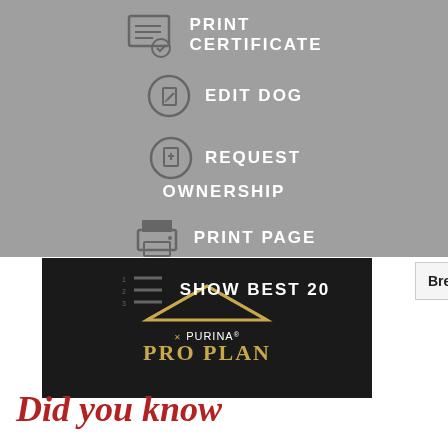[Figure (screenshot): Dropdown menu overlay with gray background showing options: PRINT CERTIFICATE (with certificate icon), EDIT DOG (with edit/pencil circle icon), REQUEST OWNERSHIP (with document circle icon), PRINT PAGE (with printer icon), SHOW BEST 20 (with list icon)]
[Figure (logo): Purina Pro Plan logo on black background with gold roof/chevron shape above text]
| Breed Rank | 4 |
| --- | --- |
View Show Record
Did you know